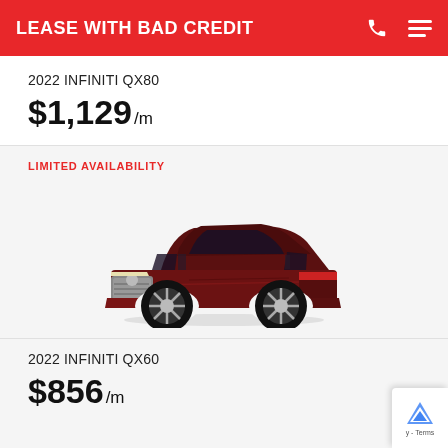LEASE WITH BAD CREDIT
2022 INFINITI QX80
$1,129 /m
LIMITED AVAILABILITY
[Figure (photo): 2022 Infiniti QX80 luxury SUV in dark red/maroon color, shown in 3/4 front view on white background]
2022 INFINITI QX60
$856 /m